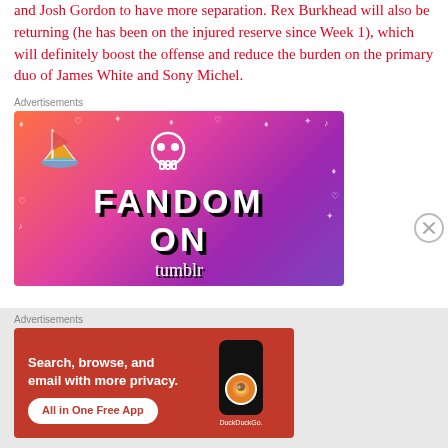and Josh Gordon to have more separation. Rex Burkhead will also be returning (he has been on the injured reserve since Week 1), which will definitely boost the offense and reduce the burden on the primary duo of James White and Sony Michel.
Advertisements
[Figure (illustration): Fandom on Tumblr advertisement banner with colorful purple-pink-orange gradient background, doodle icons, a sailboat illustration, skull icon, dice icons, and bold text reading FANDOM ON tumblr]
Advertisements
[Figure (illustration): DuckDuckGo advertisement with red-orange background showing phone silhouette with DuckDuckGo logo, text: Search, browse, and email with more privacy. All in One Free App. DuckDuckGo.]